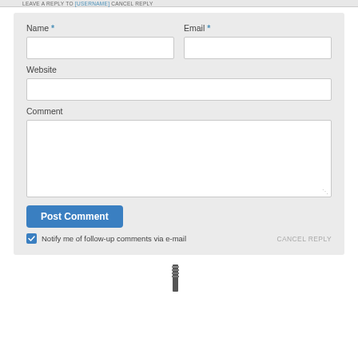LEAVE A REPLY TO [LINK]  CANCEL REPLY
Name *
Email *
Website
Comment
Post Comment
Notify me of follow-up comments via e-mail
CANCEL REPLY
[Figure (screenshot): Bottom icons/navigation elements partially visible at bottom of page]